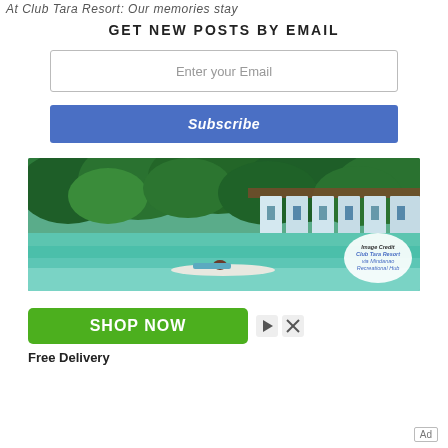At Club Tara Resort: Our memories stay
GET NEW POSTS BY EMAIL
Enter your Email
Subscribe
[Figure (photo): Person lying on a paddleboard on turquoise water near overwater bungalows surrounded by lush green trees. Image Credit: Club Tara Resort via Mindanao Recreational Hub]
SHOP NOW
Free Delivery
Ad